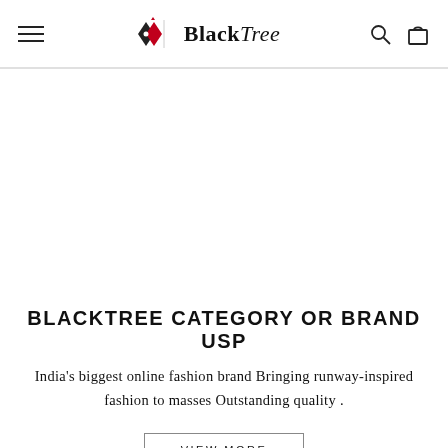BlackTree navigation header with hamburger menu, logo, search and cart icons
BLACKTREE CATEGORY OR BRAND USP
India's biggest online fashion brand Bringing runway-inspired fashion to masses Outstanding quality .
VIEW MORE